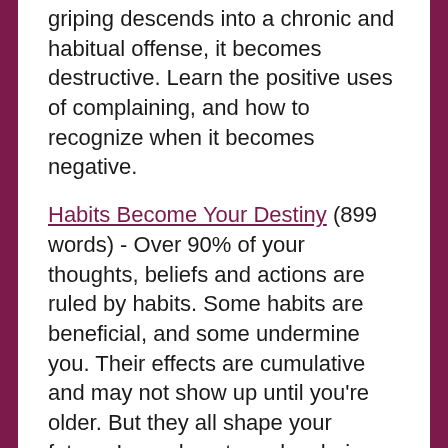griping descends into a chronic and habitual offense, it becomes destructive. Learn the positive uses of complaining, and how to recognize when it becomes negative.
Habits Become Your Destiny (899 words) - Over 90% of your thoughts, beliefs and actions are ruled by habits. Some habits are beneficial, and some undermine you. Their effects are cumulative and may not show up until you're older. But they all shape your future. Learn how to make choices that lead to habits that will support the outcomes you want.
Break Free from the Prison of Conformity (647 words) - Most people crave acceptance and approval of those around them, at the expense of their dreams and potential. There are benefits for